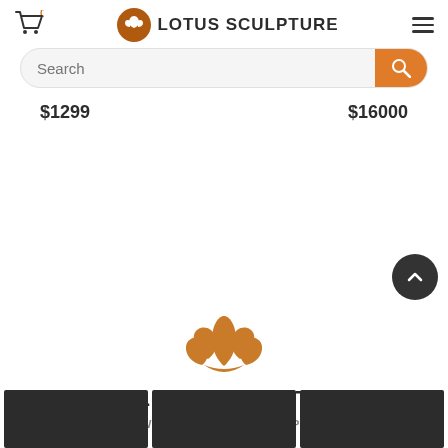Lotus Sculpture — navigation header with cart (0), logo, and hamburger menu
Search
$1299
$16000
[Figure (logo): Lotus flower icon in orange/brown color]
#MYLOTUSSCULPTURE
CLICK TO VIEW STATUES IN OUR HAPPY CUSTOMERS HOMES!
[Figure (photo): Three dark/black image boxes at the bottom of the page]